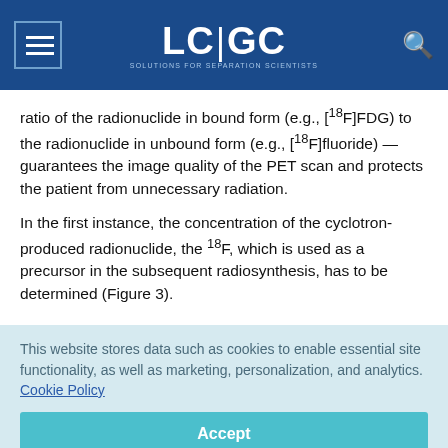LC|GC — Solutions for Separation Scientists
ratio of the radionuclide in bound form (e.g., [18F]FDG) to the radionuclide in unbound form (e.g., [18F]fluoride) — guarantees the image quality of the PET scan and protects the patient from unnecessary radiation.
In the first instance, the concentration of the cyclotron-produced radionuclide, the 18F, which is used as a precursor in the subsequent radiosynthesis, has to be determined (Figure 3).
This website stores data such as cookies to enable essential site functionality, as well as marketing, personalization, and analytics. Cookie Policy
Accept
Deny